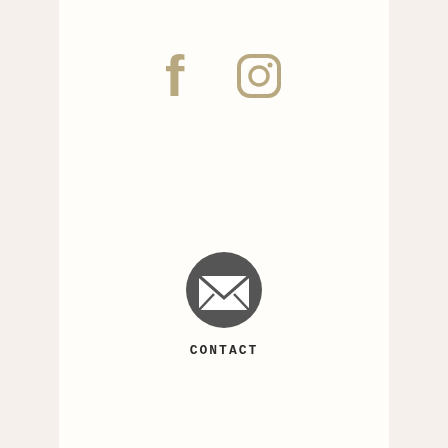[Figure (illustration): Facebook and Instagram social media icons in tan/gold color]
[Figure (illustration): Dark gray circular email/contact icon with envelope symbol]
CONTACT
Sign up